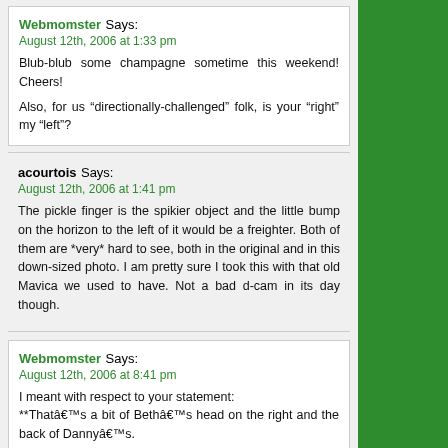Webmomster Says: August 12th, 2006 at 1:33 pm
Blub-blub some champagne sometime this weekend! Cheers!
Also, for us “directionally-challenged” folk, is your “right” my “left”?
acourtois Says: August 12th, 2006 at 1:41 pm
The pickle finger is the spikier object and the little bump on the horizon to the left of it would be a freighter. Both of them are *very* hard to see, both in the original and in this down-sized photo. I am pretty sure I took this with that old Mavica we used to have. Not a bad d-cam in its day though.
Webmomster Says: August 12th, 2006 at 8:41 pm
I meant with respect to your statement:
**Thatâ€™s a bit of Bethâ€™s head on the right and the back of Dannyâ€™s.
I think your right might be my left??